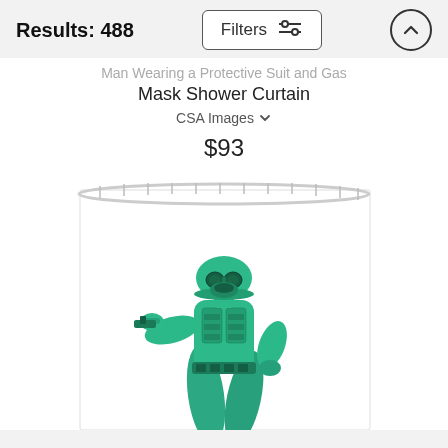Results: 488
Man Wearing a Protective Suit and Gas Mask Shower Curtain
CSA Images
$93
[Figure (photo): A shower curtain featuring a green toy soldier figure wearing a protective suit and gas mask, displayed hanging from a shower curtain rod. The toy soldier is rendered in metallic green color and is posed in an action stance pointing forward.]